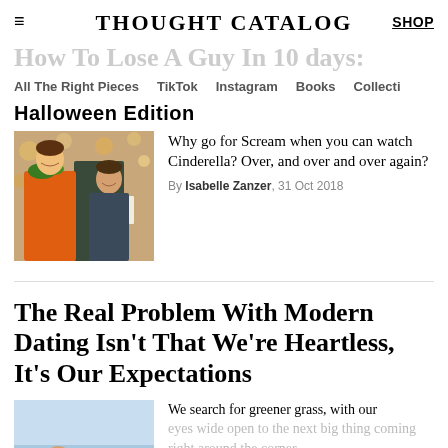THOUGHT CATALOG
How To Lose A Guy In 10 days:
All The Right Pieces  TikTok  Instagram  Books  Collecti
Halloween Edition
[Figure (photo): Two people in Halloween costumes at a party]
Why go for Scream when you can watch Cinderella? Over, and over and over again?
By Isabelle Zanzer, 31 Oct 2018
The Real Problem With Modern Dating Isn't That We're Heartless, It's Our Expectations
[Figure (photo): Two hands holding each other]
We search for greener grass, with our eyes wide open to the next big thing coming right around the corner.